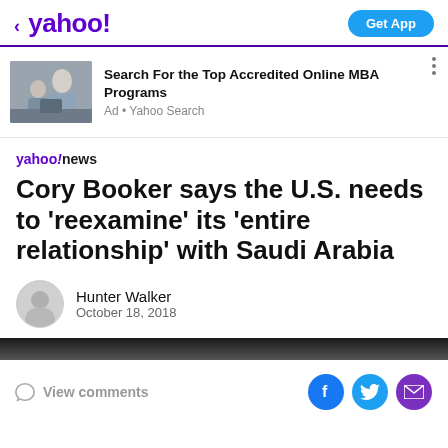< yahoo! | Get App
[Figure (screenshot): Ad banner: photo of students at computers, with text 'Search For the Top Accredited Online MBA Programs' and 'Ad • Yahoo Search']
Cory Booker says the U.S. needs to 'reexamine' its 'entire relationship' with Saudi Arabia
Hunter Walker
October 18, 2018
View comments